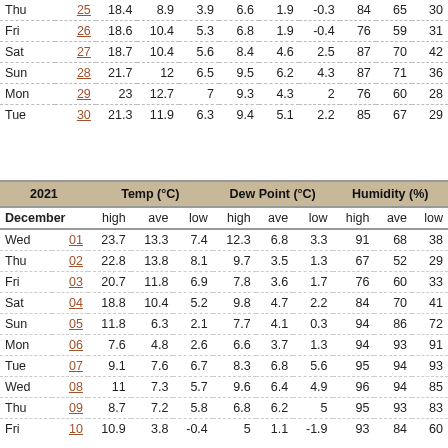| Day | Date | Temp high | Temp ave | Temp low | Dew high | Dew ave | Dew low | Hum high | Hum ave | Hum low |
| --- | --- | --- | --- | --- | --- | --- | --- | --- | --- | --- |
| Thu | 25 | 18.4 | 8.9 | 3.9 | 6.6 | 1.9 | -0.3 | 84 | 65 | 30 |
| Fri | 26 | 18.6 | 10.4 | 5.3 | 6.8 | 1.9 | -0.4 | 76 | 59 | 31 |
| Sat | 27 | 18.7 | 10.4 | 5.6 | 8.4 | 4.6 | 2.5 | 87 | 70 | 42 |
| Sun | 28 | 21.7 | 12 | 6.5 | 9.5 | 6.2 | 4.3 | 87 | 71 | 36 |
| Mon | 29 | 23 | 12.7 | 7 | 9.3 | 4.3 | 2 | 76 | 60 | 28 |
| Tue | 30 | 21.3 | 11.9 | 6.3 | 9.4 | 5.1 | 2.2 | 85 | 67 | 29 |
| 2021 | Temp (°C) high | Temp (°C) ave | Temp (°C) low | Dew Point (°C) high | Dew Point (°C) ave | Dew Point (°C) low | Humidity (%) high | Humidity (%) ave | Humidity (%) low |
| --- | --- | --- | --- | --- | --- | --- | --- | --- | --- |
| December | high | ave | low | high | ave | low | high | ave | low |
| Wed 01 | 23.7 | 13.3 | 7.4 | 12.3 | 6.8 | 3.3 | 91 | 68 | 38 |
| Thu 02 | 22.8 | 13.8 | 8.1 | 9.7 | 3.5 | 1.3 | 67 | 52 | 29 |
| Fri 03 | 20.7 | 11.8 | 6.9 | 7.8 | 3.6 | 1.7 | 76 | 60 | 33 |
| Sat 04 | 18.8 | 10.4 | 5.2 | 9.8 | 4.7 | 2.2 | 84 | 70 | 41 |
| Sun 05 | 11.8 | 6.3 | 2.1 | 7.7 | 4.1 | 0.3 | 94 | 86 | 72 |
| Mon 06 | 7.6 | 4.8 | 2.6 | 6.6 | 3.7 | 1.3 | 94 | 93 | 91 |
| Tue 07 | 9.1 | 7.6 | 6.7 | 8.3 | 6.8 | 5.6 | 95 | 94 | 93 |
| Wed 08 | 11 | 7.3 | 5.7 | 9.6 | 6.4 | 4.9 | 96 | 94 | 85 |
| Thu 09 | 8.7 | 7.2 | 5.8 | 6.8 | 6.2 | 5 | 95 | 93 | 83 |
| Fri 10 | 10.9 | 3.8 | -0.4 | 5 | 1.1 | -1.9 | 93 | 84 | 60 |